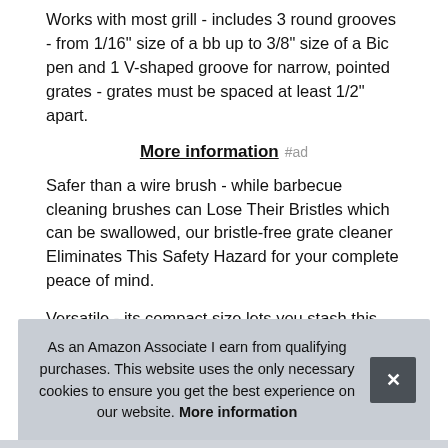Works with most grill - includes 3 round grooves - from 1/16" size of a bb up to 3/8" size of a Bic pen and 1 V-shaped groove for narrow, pointed grates - grates must be spaced at least 1/2" apart.
More information #ad
Safer than a wire brush - while barbecue cleaning brushes can Lose Their Bristles which can be swallowed, our bristle-free grate cleaner Eliminates This Safety Hazard for your complete peace of mind.
Versatile - its compact size lets you stash this barbque scraper anywhere, for use on Cold grills. Easy to clean dish... and... To U...
As an Amazon Associate I earn from qualifying purchases. This website uses the only necessary cookies to ensure you get the best experience on our website. More information